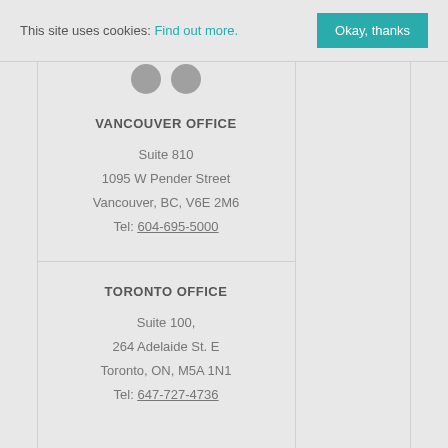This site uses cookies: Find out more. Okay, thanks
[Figure (illustration): Two semi-circular social media icon shapes visible at the top of the center column]
VANCOUVER OFFICE
Suite 810
1095 W Pender Street
Vancouver, BC, V6E 2M6
Tel: 604-695-5000
TORONTO OFFICE
Suite 100,
264 Adelaide St. E
Toronto, ON, M5A 1N1
Tel: 647-727-4736